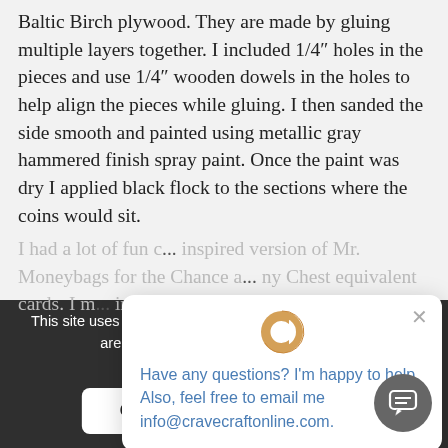Baltic Birch plywood. They are made by gluing multiple layers together. I included 1/4" holes in the pieces and use 1/4" wooden dowels in the holes to help align the pieces while gluing. I then sanded the side smooth and painted using metallic gray hammered finish spray paint. Once the paint was dry I applied black flock to the sections where the coins would sit.
Quibbler (Chance) (Community Chest
[Figure (screenshot): Chat popup widget with a cookie logo, an X close button, and blue text reading: Have any questions? I'm happy to help. Also, feel free to email me info@cravecraftonline.com.]
This site uses cookies. By continuing to browse the site, you are agreeing to the use of our cookies.
I had a lot of fun c... inspired version of Mr. Moneybags for the Chance a... ny Chest equivalent cards. I m... image theme of the classic mo... ander about it and made...